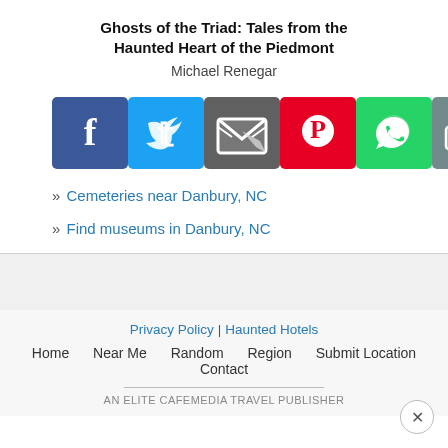Ghosts of the Triad: Tales from the Haunted Heart of the Piedmont
Michael Renegar
[Figure (infographic): Row of 10 social sharing buttons: Facebook (blue), Twitter (blue), Email/envelope (gray), Pinterest (red), WhatsApp (green), Print (gray), Gmail (red), LinkedIn (blue), Google (blue), Google+ (orange-red)]
» Cemeteries near Danbury, NC
» Find museums in Danbury, NC
Privacy Policy | Haunted Hotels
Home   Near Me   Random   Region   Submit Location   Contact
AN ELITE CAFEMEDIA TRAVEL PUBLISHER